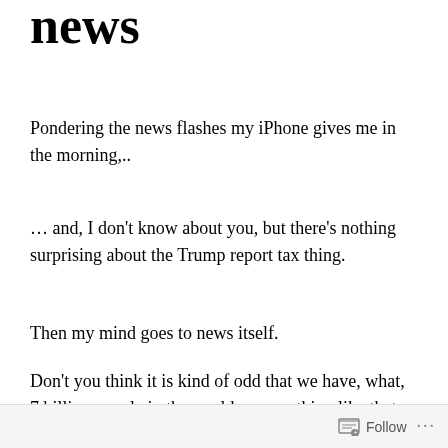news
Pondering the news flashes my iPhone gives me in the morning,..
… and, I don't know about you, but there's nothing surprising about the Trump report tax thing.
Then my mind goes to news itself.
Don't you think it is kind of odd that we have, what, 7 billion people in the world or something like that, and I spend my day talking about maybe three pieces of news that somehow are more important than anything else that happens?
Follow ...